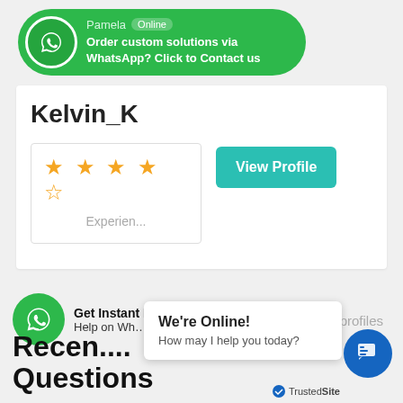[Figure (screenshot): WhatsApp contact banner with green background showing Pamela Online and text 'Order custom solutions via WhatsApp? Click to Contact us']
Kelvin_K
[Figure (infographic): Star rating showing approximately 3 out of 5 stars in yellow/gold color]
Experien...
View Profile
View all profiles
[Figure (infographic): Green WhatsApp circle icon button at bottom left]
Get Instant Homework Help on Wh... us a Messa...
We're Online! How may I help you today?
Recen... Questions
[Figure (infographic): Blue circular chat button with speech bubble icon]
TrustedSite